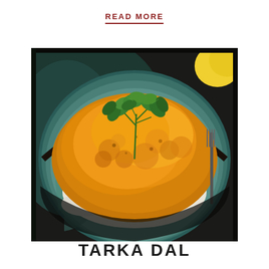READ MORE
[Figure (photo): A teal/dark bowl filled with golden-orange tarka dal (lentil curry) topped with fresh green cilantro/coriander leaves, served over white rice. A fork is visible on the right side and yellow lemon/lime in the background.]
TARKA DAL